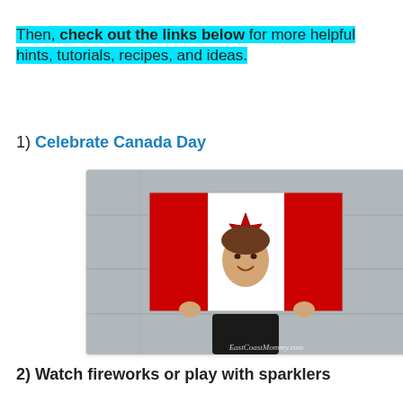Then, check out the links below for more helpful hints, tutorials, recipes, and ideas.
1) Celebrate Canada Day
[Figure (photo): A child holding up a large Canadian flag prop with a maple leaf cutout where the child's face is visible, smiling. Watermark reads EastCoastMommy.com.]
2) Watch fireworks or play with sparklers